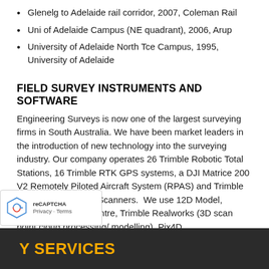Glenelg to Adelaide rail corridor, 2007, Coleman Rail
Uni of Adelaide Campus (NE quadrant), 2006, Arup
University of Adelaide North Tce Campus, 1995, University of Adelaide
FIELD SURVEY INSTRUMENTS AND SOFTWARE
Engineering Surveys is now one of the largest surveying firms in South Australia. We have been market leaders in the introduction of new technology into the surveying industry. Our company operates 26 Trimble Robotic Total Stations, 16 Trimble RTK GPS systems, a DJI Matrice 200 V2 Remotely Piloted Aircraft System (RPAS) and Trimble SX-12 and TX-5 3D Scanners.  We use 12D Model, Trimble Business Centre, Trimble Realworks (3D scan point cloud processing/ modelling), Pix4D (photogrammetry), Cyclone-3DR (advanced modelling) and AutoCAD as our software platforms.
Y SERVICES